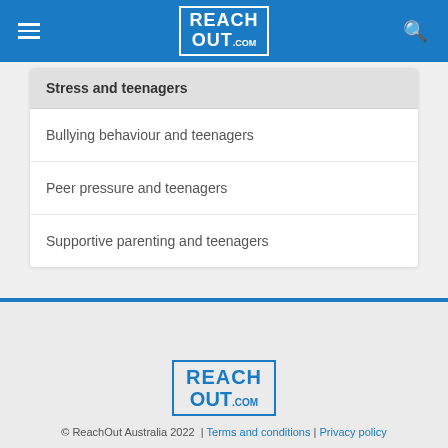REACH OUT .com
Stress and teenagers
Bullying behaviour and teenagers
Peer pressure and teenagers
Supportive parenting and teenagers
© ReachOut Australia 2022  |  Terms and conditions | Privacy policy